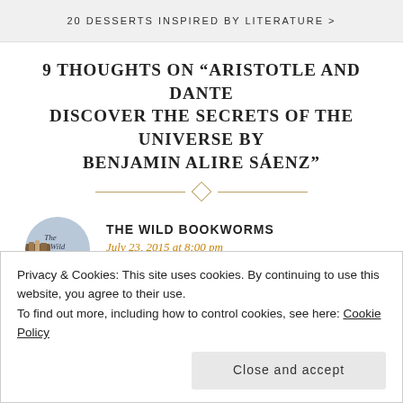20 DESSERTS INSPIRED BY LITERATURE >
9 THOUGHTS ON “ARISTOTLE AND DANTE DISCOVER THE SECRETS OF THE UNIVERSE BY BENJAMIN ALIRE SÁENZ”
THE WILD BOOKWORMS
July 23, 2015 at 8:00 pm
Privacy & Cookies: This site uses cookies. By continuing to use this website, you agree to their use.
To find out more, including how to control cookies, see here: Cookie Policy
Close and accept